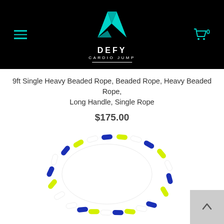[Figure (logo): Defy Cardio Jump logo — teal geometric paper-plane/arrow shape above white text 'DEFY' and 'CARDIO JUMP' with underline, on black background]
9ft Single Heavy Beaded Rope, Beaded Rope, Heavy Beaded Rope, Long Handle, Single Rope
$175.00
[Figure (photo): Close-up photo of a blue, yellow/lime, and white beaded jump rope coiled on a white background]